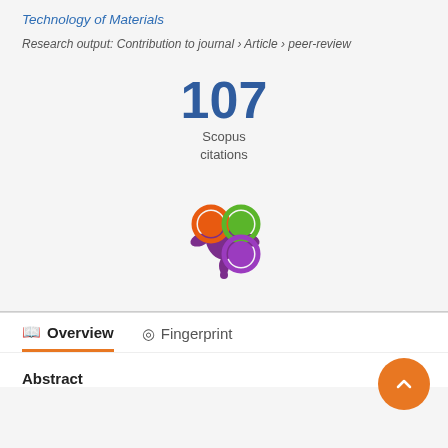Technology of Materials
Research output: Contribution to journal › Article › peer-review
107 Scopus citations
[Figure (logo): Altmetric logo — stylized butterfly made of colored circles (orange, green, purple) connected by a dark purple splash shape]
Overview
Fingerprint
Abstract